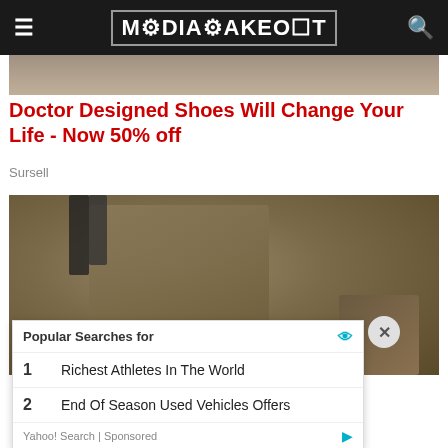MediaTakeOut
[Figure (photo): Partial image at top of page, muted brown tones]
Doctor Designed Shoes Will Change Your Life - Now 50% off
Sursell
[Figure (photo): Person wearing tan/olive tactical pants and boots on rocky terrain]
Popular Searches for
1   Richest Athletes In The World
2   End Of Season Used Vehicles Offers
Yahoo! Search | Sponsored